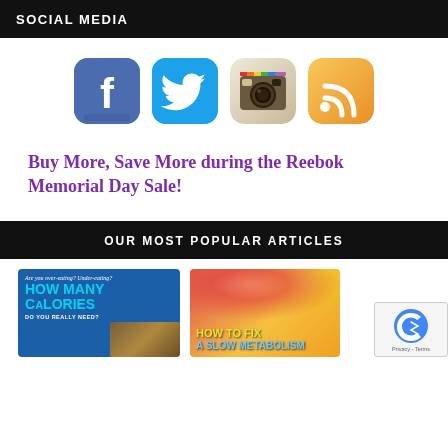SOCIAL MEDIA
[Figure (illustration): Four social media icons: Facebook (blue), Twitter (cyan), Instagram (beige/camera), RSS (orange)]
Buy More, Save More during the Reebok Memorial Day Sale!
OUR MOST POPULAR ARTICLES
[Figure (infographic): Thumbnail for article: Are you over-eating? Under-eating? HOW MANY CALORIES DO YOU REALLY NEED?]
[Figure (infographic): Thumbnail for article: HOW TO FIX A SLOW METABOLISM with fruits background]